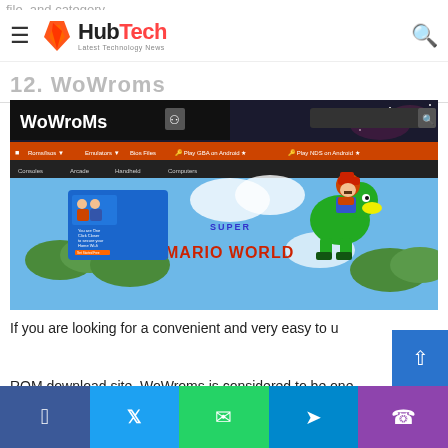file, and category.
HubTech — Latest Technology News
12. WoWroms
[Figure (screenshot): Screenshot of WoWroms website showing Super Mario World banner with Mario and Yoshi characters, navigation bar with ROM categories, and an advertisement panel on the left.]
If you are looking for a convenient and very easy to u
ROM download site, WoWroms is considered to be one of